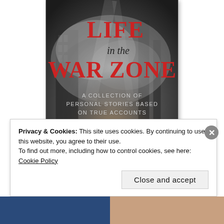[Figure (illustration): Book cover for 'Life in the War Zone: A Collection of Personal Stories Based on True Accounts'. Features a dark, smoky background with ruins, a silhouetted figure of a person bowing their head in the foreground. Title text in red and black serif font.]
Privacy & Cookies: This site uses cookies. By continuing to use this website, you agree to their use.
To find out more, including how to control cookies, see here: Cookie Policy
Close and accept